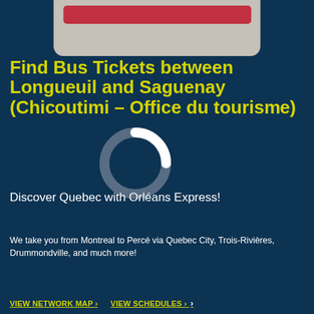[Figure (other): Top card widget with a dark red/crimson horizontal bar on a light beige/grey rounded card background, partially visible at top of page]
Find Bus Tickets between Longueuil and Saguenay (Chicoutimi – Office du tourisme)
[Figure (other): Circular loading spinner graphic with grey ring and white arc, overlaid on the title text area]
Discover Quebec with Orléans Express!
We take you from Montreal to Percé via Quebec City, Trois-Rivières, Drummondville, and much more!
VIEW NETWORK MAP >
VIEW SCHEDULES > >